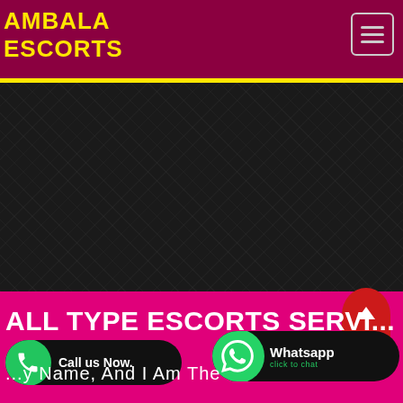AMBALA ESCORTS
[Figure (screenshot): Dark textured background area with repeating diagonal pattern]
ALL TYPE ESCORTS SERVI...
My Name, And I Am The
[Figure (infographic): Call us Now button with green phone icon on black pill]
[Figure (infographic): WhatsApp click to chat button with green WhatsApp icon on black pill]
[Figure (infographic): Red scroll-to-top arrow button]